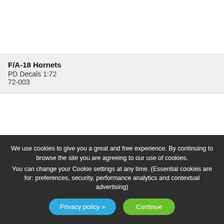[Figure (photo): Product image area for F/A-18 Hornets decal sheet (top, mostly white/blank)]
F/A-18 Hornets
PD Decals 1:72
72-003
[Figure (photo): Product image area for F/A-18As decal sheet (middle, mostly white/blank)]
F/A-18As VFA-132, VFA-303, VFA-305
SuperScale International 1:72
72-578
[Figure (photo): Product image area (bottom strip, mostly white/blank)]
We use cookies to give you a great and free experience. By continuing to browse the site you are agreeing to our use of cookies.

You can change your Cookie settings at any time. (Essential cookies are for: preferences, security, performance analytics and contextual advertising)
Privacy policy »
Continue